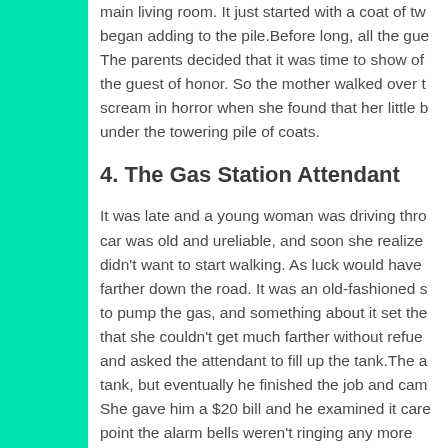main living room. It just started with a coat of tw began adding to the pile.Before long, all the gue The parents decided that it was time to show of the guest of honor. So the mother walked over t scream in horror when she found that her little b under the towering pile of coats.
4. The Gas Station Attendant
It was late and a young woman was driving thro car was old and ureliable, and soon she realize didn't want to start walking. As luck would have farther down the road. It was an old-fashioned s to pump the gas, and something about it set the that she couldn't get much farther without refue and asked the attendant to fill up the tank.The a tank, but eventually he finished the job and cam She gave him a $20 bill and he examined it care point the alarm bells weren't ringing any more